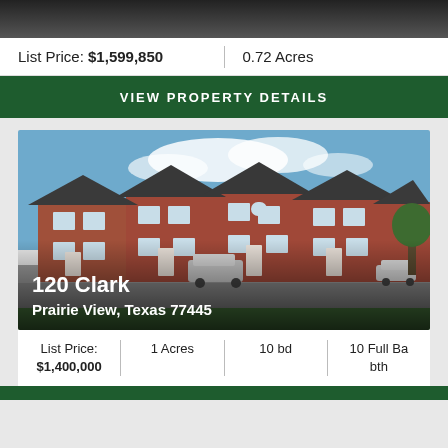[Figure (photo): Top dark image bar showing partial view of a property]
List Price: $1,599,850 | 0.72 Acres
VIEW PROPERTY DETAILS
[Figure (photo): Exterior photo of a red brick two-story multi-unit residential building with dark roofing, green lawn, parked cars, and blue sky at 120 Clark, Prairie View, Texas 77445]
120 Clark
Prairie View, Texas 77445
List Price: $1,400,000 | 1 Acres | 10 bd | 10 Full Bath